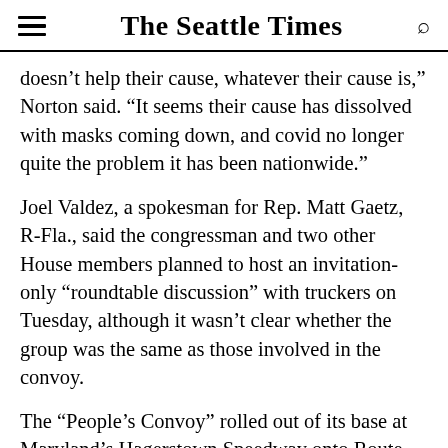The Seattle Times
doesn’t help their cause, whatever their cause is,” Norton said. “It seems their cause has dissolved with masks coming down, and covid no longer quite the problem it has been nationwide.”
Joel Valdez, a spokesman for Rep. Matt Gaetz, R-Fla., said the congressman and two other House members planned to host an invitation-only “roundtable discussion” with truckers on Tuesday, although it wasn’t clear whether the group was the same as those involved in the convoy.
The “People’s Convoy” rolled out of its base at Maryland’s Hagerstown Speedway onto Route 40 on Monday morning, making its way from Interstates 81 to 70, then to I-270 before merging onto the Beltway.